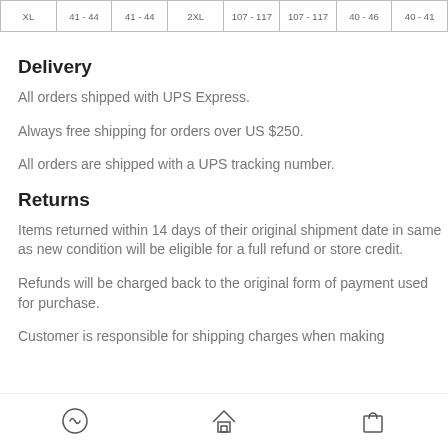| XL | 41-44 | 41-44 | 2XL | 107-117 | 107-117 | 40-46 | 40-41 |
| --- | --- | --- | --- | --- | --- | --- | --- |
|  |
Delivery
All orders shipped with UPS Express.
Always free shipping for orders over US $250.
All orders are shipped with a UPS tracking number.
Returns
Items returned within 14 days of their original shipment date in same as new condition will be eligible for a full refund or store credit.
Refunds will be charged back to the original form of payment used for purchase.
Customer is responsible for shipping charges when making
[icons: lululemon logo, home, bag]